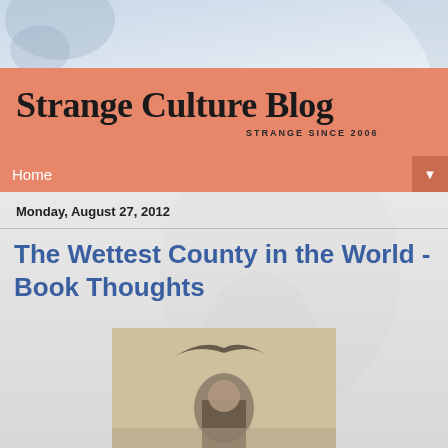[Figure (illustration): Blog header background with light blue/grey watercolor-style texture and faint shadow figure]
Strange Culture Blog
STRANGE SINCE 2006
Home
Monday, August 27, 2012
The Wettest County in the World - Book Thoughts
[Figure (photo): Old sepia-toned photograph of a man standing outdoors, with a dark bird or object visible above him]